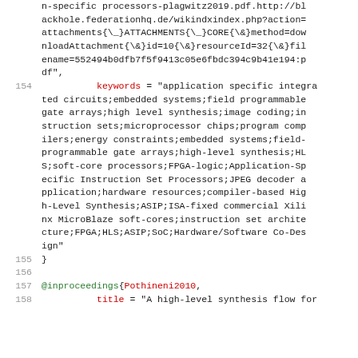Code snippet showing BibTeX entries with line numbers 154-158, including a keywords field and @inproceedings entry.